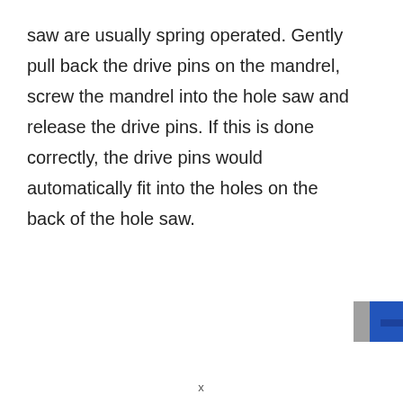saw are usually spring operated. Gently pull back the drive pins on the mandrel, screw the mandrel into the hole saw and release the drive pins. If this is done correctly, the drive pins would automatically fit into the holes on the back of the hole saw.
[Figure (photo): Partial image visible in bottom-right corner, appears to be a blue and grey object, possibly a tool or device.]
x